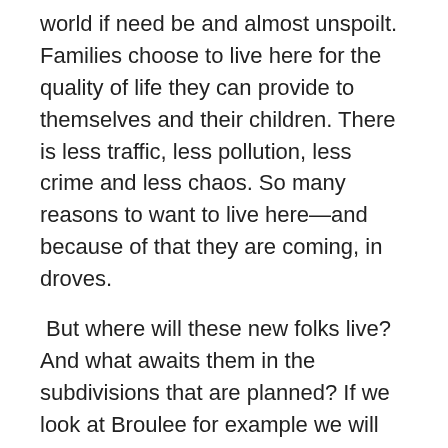world if need be and almost unspoilt. Families choose to live here for the quality of life they can provide to themselves and their children. There is less traffic, less pollution, less crime and less chaos. So many reasons to want to live here—and because of that they are coming, in droves.
But where will these new folks live? And what awaits them in the subdivisions that are planned? If we look at Broulee for example we will find tiny, cleared blocks where trees once stood, ready for two storey 'homes' of mundane designs that have four bedrooms, a TV room, a double garage and a handkerchief backyard abutting the neighbours 'dream home' that looks